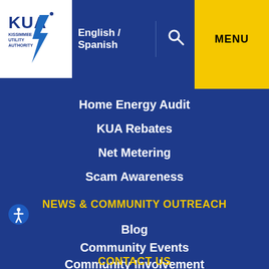[Figure (logo): KUA Kissimmee Utility Authority logo - blue text with lightning bolt on white background]
English / Spanish  🔍  MENU
Home Energy Audit
KUA Rebates
Net Metering
Scam Awareness
NEWS & COMMUNITY OUTREACH
Blog
Community Events
Community Involvement
Student Art Calendar
Media
Press Releases
CONTACT US